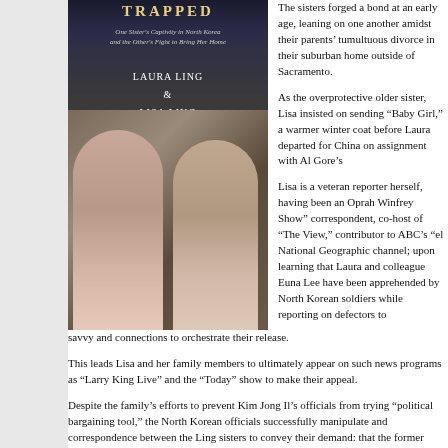[Figure (photo): Book cover for a memoir by Laura Ling and Lisa Ling, showing two Asian women on a dark background. The subtitle reads: One Sister's Captivity in North Korea and the Other's Fight to Bring Her Home. Authors listed as LAURA LING & LISA LING.]
The sisters forged a bond at an early age, leaning on one another amidst their parents’ tumultuous divorce in their suburban home outside of Sacramento.
As the overprotective older sister, Lisa insisted on sending “Baby Girl,” a warmer winter coat before Laura departed for China on assignment with Al Gore’s
Lisa is a veteran reporter herself, having been an Oprah Winfrey Show” correspondent, co-host of “The View,” contributor to ABC’s “el National Geographic channel; upon learning that Laura and colleague Euna Lee have been apprehended by North Korean soldiers while reporting on defectors to savvy and connections to orchestrate their release.
This leads Lisa and her family members to ultimately appear on such news programs as “Larry King Live” and the “Today” show to make their appeal.
Despite the family’s efforts to prevent Kim Jong Il’s officials from trying “political bargaining tool,” the North Korean officials successfully manipulate and correspondence between the Ling sisters to convey their demand: that the former President Bill Clinton to the isolationist Communist country. The expectations timing, coming just months after North Korea had launched a long-range missile global community.